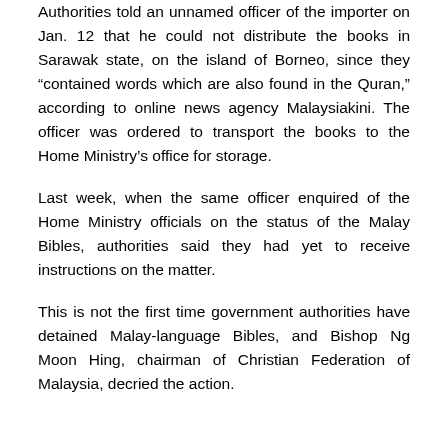Authorities told an unnamed officer of the importer on Jan. 12 that he could not distribute the books in Sarawak state, on the island of Borneo, since they “contained words which are also found in the Quran,” according to online news agency Malaysiakini. The officer was ordered to transport the books to the Home Ministry’s office for storage.
Last week, when the same officer enquired of the Home Ministry officials on the status of the Malay Bibles, authorities said they had yet to receive instructions on the matter.
This is not the first time government authorities have detained Malay-language Bibles, and Bishop Ng Moon Hing, chairman of Christian Federation of Malaysia, decried the action.